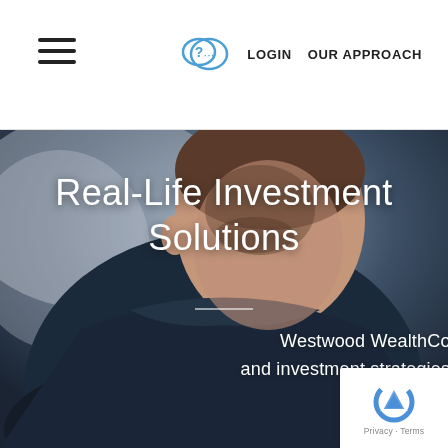≡  LOGIN  OUR APPROACH
[Figure (photo): Close-up photo of a man in a dark navy jacket looking downward, serving as a full-width hero background image]
Real-Life Investment Solutions
Westwood WealthCoach offers planning tools and investment strategies to help you grow your assets and achieve your vision.